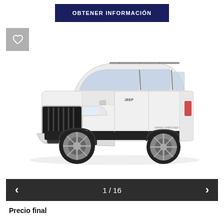OBTENER INFORMACIÓN
[Figure (photo): White Jeep Grand Cherokee L SUV shown in three-quarter front view against white background]
1 / 16
Precio final